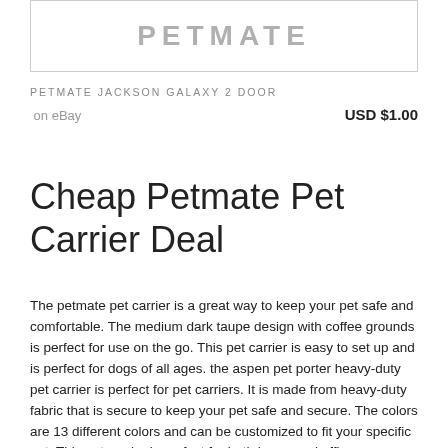[Figure (other): Product image placeholder box with stylized brand text]
PETMATE JACKSON GALAXY 2 DOOR
on eBay    USD $1.00
Cheap Petmate Pet Carrier Deal
The petmate pet carrier is a great way to keep your pet safe and comfortable. The medium dark taupe design with coffee grounds is perfect for use on the go. This pet carrier is easy to set up and is perfect for dogs of all ages. the aspen pet porter heavy-duty pet carrier is perfect for pet carriers. It is made from heavy-duty fabric that is secure to keep your pet safe and secure. The colors are 13 different colors and can be customized to fit your specific pet. This pet carrier is perfect for both home and office